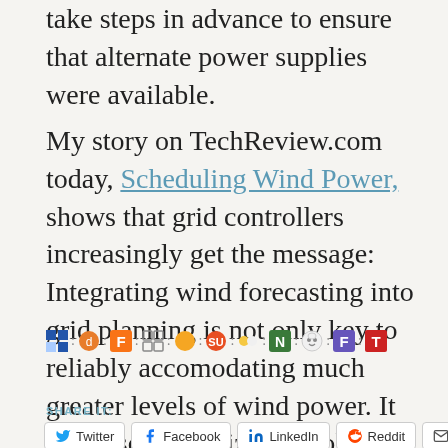take steps in advance to ensure that alternate power supplies were available.
My story on TechReview.com today, Scheduling Wind Power, shows that grid controllers increasingly get the message: Integrating wind forecasting into grid planning is not only key to reliably accomodating much greater levels of wind power. It will also maximize the pollution reductions achieved in the process.
[Figure (infographic): Row of social media sharing icons separated by colons]
SHARE IT:
Twitter  Facebook  LinkedIn  Reddit  Email